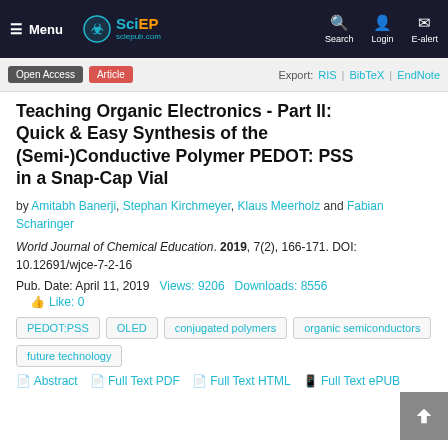SciEP sciepub.com | Menu | Search | Login | E-alert
Open Access | Article | Export: RIS | BibTeX | EndNote
Teaching Organic Electronics - Part II: Quick & Easy Synthesis of the (Semi-)Conductive Polymer PEDOT: PSS in a Snap-Cap Vial
by Amitabh Banerji, Stephan Kirchmeyer, Klaus Meerholz and Fabian Scharinger
World Journal of Chemical Education. 2019, 7(2), 166-171. DOI: 10.12691/wjce-7-2-16
Pub. Date: April 11, 2019   Views: 9206   Downloads: 8556
Like: 0
PEDOT:PSS
OLED
conjugated polymers
organic semiconductors
future technology
Abstract | Full Text PDF | Full Text HTML | Full Text ePUB